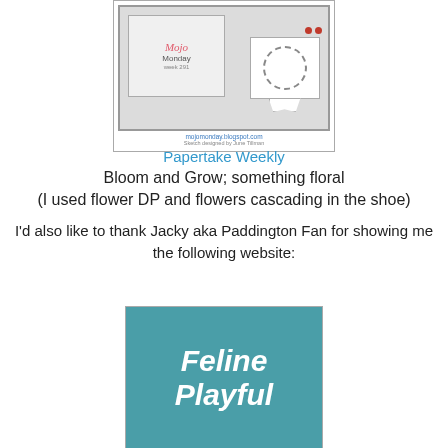[Figure (illustration): Mojo Monday week 291 sketch/layout card design showing an inner card with logo, a ribbon banner, dashed circle element, red dots, with mojomonday.blogspot.com URL and credit line 'Sketch designed by June Tillman']
Papertake Weekly
Bloom and Grow; something floral
(I used flower DP and flowers cascading in the shoe)
I'd also like to thank Jacky aka Paddington Fan for showing me the following website:
[Figure (illustration): Feline Playful website banner/logo with teal/aqua background and white italic bold text reading 'Feline Playful' with decorative element at bottom]